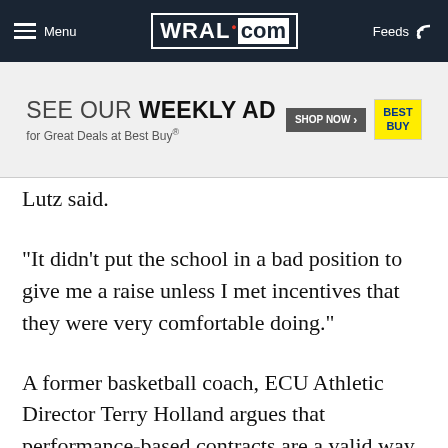Menu  WRAL.com  Feeds
[Figure (screenshot): Best Buy advertisement banner: SEE OUR WEEKLY AD for Great Deals at Best Buy® with SHOP NOW button and Best Buy logo]
Lutz said.
“It didn't put the school in a bad position to give me a raise unless I met incentives that they were very comfortable doing.”
A former basketball coach, ECU Athletic Director Terry Holland argues that performance-based contracts are a valid way to justify high pay. He crafts creative